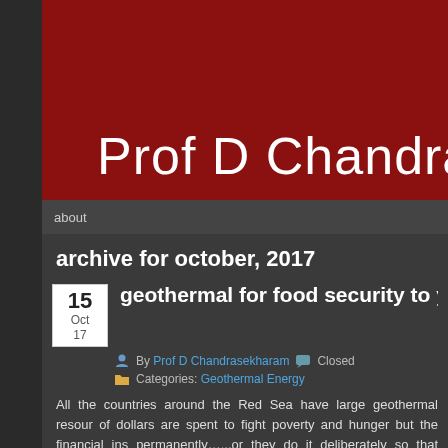Prof D Chandrase
about
archive for october, 2017
geothermal for food security to ye
By Prof D Chandrasekharam   Closed
Categories: Geothermal Energy
All the countries around the Red Sea have large geothermal resour of dollars are spent to fight poverty and hunger but the financial ins permanently…...or they do it deliberately so that these countries a Republic that is on the verge of facing famine.
The geographic area occupied by Yemen is about 528000 km2 an